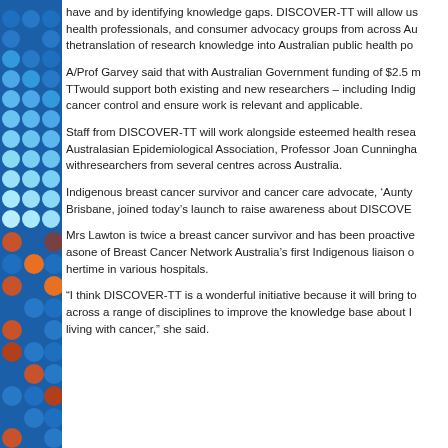have and by identifying knowledge gaps. DISCOVER-TT will allow us health professionals, and consumer advocacy groups from across Au thetranslation of research knowledge into Australian public health po
A/Prof Garvey said that with Australian Government funding of $2.5 m TTwould support both existing and new researchers – including Indig cancer control and ensure work is relevant and applicable.
Staff from DISCOVER-TT will work alongside esteemed health resea Australasian Epidemiological Association, Professor Joan Cunningha withresearchers from several centres across Australia.
Indigenous breast cancer survivor and cancer care advocate, 'Aunty Brisbane, joined today's launch to raise awareness about DISCOVE
Mrs Lawton is twice a breast cancer survivor and has been proactive asone of Breast Cancer Network Australia's first Indigenous liaison o hertime in various hospitals.
“I think DISCOVER-TT is a wonderful initiative because it will bring to across a range of disciplines to improve the knowledge base about I living with cancer,” she said.